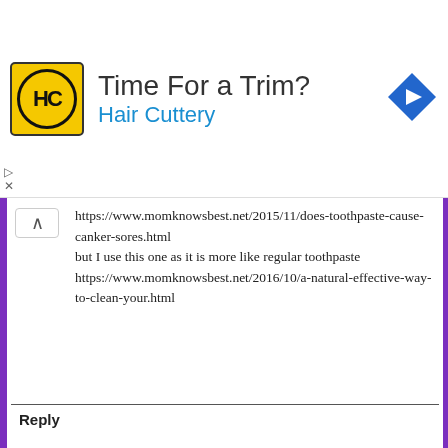[Figure (logo): Hair Cuttery advertisement banner with HC logo, title 'Time For a Trim?', subtitle 'Hair Cuttery', and a blue diamond navigation arrow icon]
https://www.momknowsbest.net/2015/11/does-toothpaste-cause-canker-sores.html
but I use this one as it is more like regular toothpaste
https://www.momknowsbest.net/2016/10/a-natural-effective-way-to-clean-your.html
Reply
Maria Magdalena  August 15, 2018 at 12:53 AM
I just heard about the oil pulling. I need such a product too. Especially if it has better taste than coconut oil.
Reply